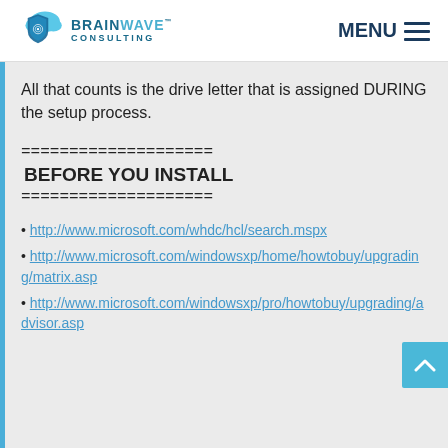[Figure (logo): BrainWave Consulting logo with shield and cloud icon]
MENU
All that counts is the drive letter that is assigned DURING the setup process.
====================
 BEFORE YOU INSTALL
====================
• http://www.microsoft.com/whdc/hcl/search.mspx
• http://www.microsoft.com/windowsxp/home/howtobuy/upgrading/matrix.asp
• http://www.microsoft.com/windowsxp/pro/howtobuy/upgrading/advisor.asp